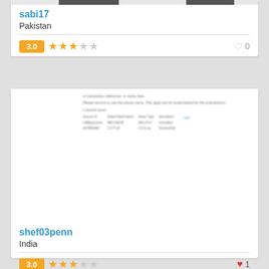sabi17
Pakistan
3.0 ★★★☆☆  ♡ 0
[Figure (screenshot): Blurred screenshot of a data/transaction table with columns including amount, status, and description fields]
shef03penn
India
3.0 ★★★☆☆  ♥ 1